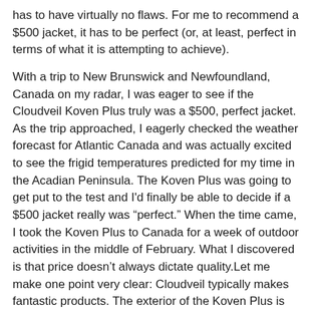has to have virtually no flaws. For me to recommend a $500 jacket, it has to be perfect (or, at least, perfect in terms of what it is attempting to achieve).
With a trip to New Brunswick and Newfoundland, Canada on my radar, I was eager to see if the Cloudveil Koven Plus truly was a $500, perfect jacket. As the trip approached, I eagerly checked the weather forecast for Atlantic Canada and was actually excited to see the frigid temperatures predicted for my time in the Acadian Peninsula. The Koven Plus was going to get put to the test and I'd finally be able to decide if a $500 jacket really was "perfect." When the time came, I took the Koven Plus to Canada for a week of outdoor activities in the middle of February. What I discovered is that price doesn't always dictate quality.Let me make one point very clear: Cloudveil typically makes fantastic products. The exterior of the Koven Plus is incredibly well-made. All of the seams are sealed. The zippers are water-resistant. It provides a snug-but-not-tight fit. It's incredibly durable. And it is warm.